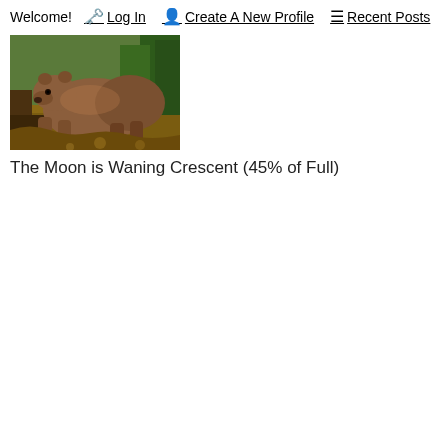Welcome!  🗝️ Log In   👤 Create A New Profile   ☰ Recent Posts
[Figure (photo): A brown bear foraging on the ground in a forest setting]
The Moon is Waning Crescent (45% of Full)